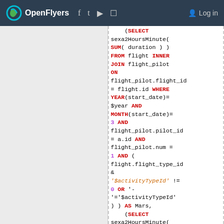OpenFlyers | Log in
[Figure (screenshot): SQL code snippet showing a subquery with SELECT sexa2HoursMinute(SUM(duration)) FROM flight INNER JOIN flight_pilot ON flight_pilot.flight_id = flight.id WHERE YEAR(start_date)= $year AND MONTH(start_date)= 3 AND flight_pilot.pilot_id = a.id AND flight_pilot.num = 1 AND (flight.flight_type_id & '$activityTypeId' != 0 OR '-'='$activityTypeId') ) AS Mars, (SELECT sexa2HoursMinute(SUM(duration)) FROM flight INNER]